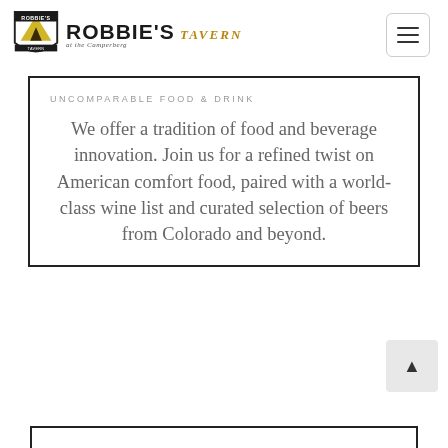[Figure (logo): Robbie's Tavern at the Camperberg logo with shield emblem]
UNCOMPARABLE FOOD & DRINK
We offer a tradition of food and beverage innovation. Join us for a refined twist on American comfort food, paired with a world-class wine list and curated selection of beers from Colorado and beyond.